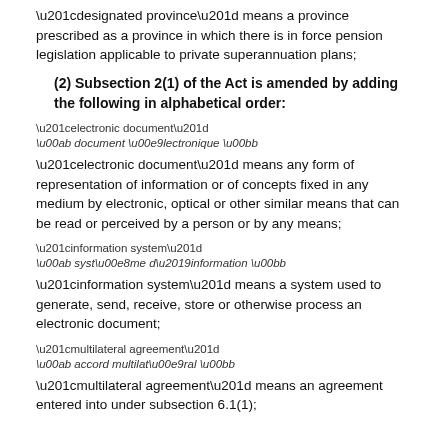“designated province” means a province prescribed as a province in which there is in force pension legislation applicable to private superannuation plans;
(2) Subsection 2(1) of the Act is amended by adding the following in alphabetical order:
“electronic document”
« document électronique »
“electronic document” means any form of representation of information or of concepts fixed in any medium by electronic, optical or other similar means that can be read or perceived by a person or by any means;
“information system”
« système d’information »
“information system” means a system used to generate, send, receive, store or otherwise process an electronic document;
“multilateral agreement”
« accord multilatéral »
“multilateral agreement” means an agreement entered into under subsection 6.1(1);